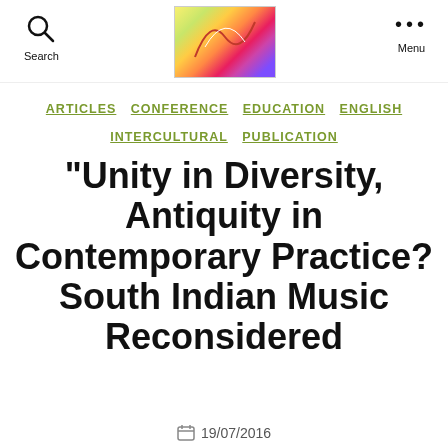Search | [logo] | Menu
ARTICLES  CONFERENCE  EDUCATION  ENGLISH  INTERCULTURAL  PUBLICATION
“Unity in Diversity, Antiquity in Contemporary Practice? South Indian Music Reconsidered
19/07/2016